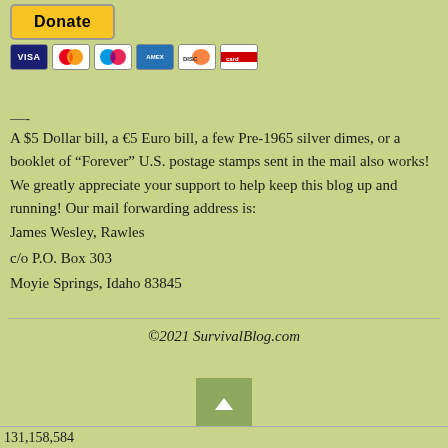[Figure (other): PayPal Donate button (yellow) with credit card icons below (Visa, Mastercard, Maestro, Amex, Discover, and one more)]
—-
A $5 Dollar bill, a €5 Euro bill, a few Pre-1965 silver dimes, or a booklet of “Forever” U.S. postage stamps sent in the mail also works! We greatly appreciate your support to help keep this blog up and running! Our mail forwarding address is:
James Wesley, Rawles
c/o P.O. Box 303
Moyie Springs, Idaho 83845
©2021 SurvivalBlog.com
[Figure (other): Scroll-to-top button with up arrow icon]
131,158,584